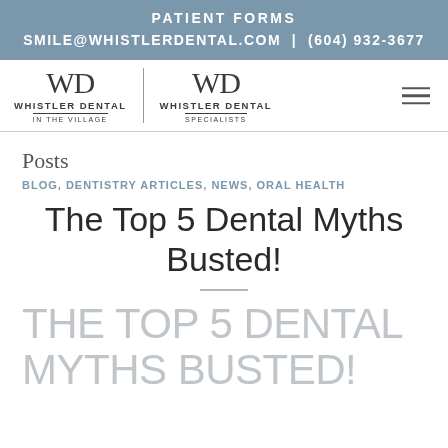PATIENT FORMS
SMILE@WHISTLERDENTAL.COM | (604) 932-3677
[Figure (logo): Whistler Dental In The Village logo and Whistler Dental Specialists logo side by side with hamburger menu icon]
Posts
BLOG, DENTISTRY ARTICLES, NEWS, ORAL HEALTH
The Top 5 Dental Myths Busted!
THE TOP 5 DENTAL MYTHS BUSTED!